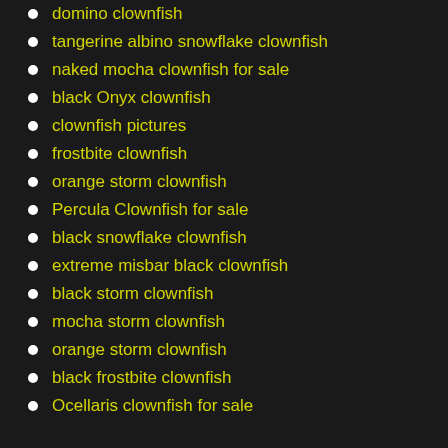domino clownfish
tangerine albino snowflake clownfish
naked mocha clownfish for sale
black Onyx clownfish
clownfish pictures
frostbite clownfish
orange storm clownfish
Percula Clownfish for sale
black snowflake clownfish
extreme misbar black clownfish
black storm clownfish
mocha storm clownfish
orange storm clownfish
black frostbite clownfish
Ocellaris clownfish for sale